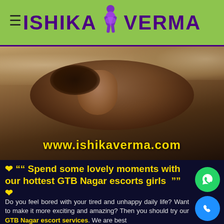ISHIKA VERMA
[Figure (photo): Hero banner photo of a woman lying back, dark warm tones, with overlay text www.ishikaverma.com]
❤ ““ Spend some lovely moments with our hottest GTB Nagar escorts girls ”” ❤
Do you feel bored with your tired and unhappy daily life? Want to make it more exciting and amazing? Then you should try our GTB Nagar escort services. We are best